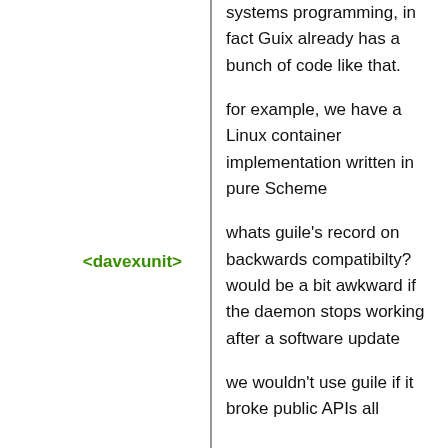systems programming, in fact Guix already has a bunch of code like that.
<davexunit> for example, we have a Linux container implementation written in pure Scheme
<HotLava> whats guile's record on backwards compatibilty? would be a bit awkward if the daemon stops working after a software update
<davexunit> we wouldn't use guile if it broke public APIs all